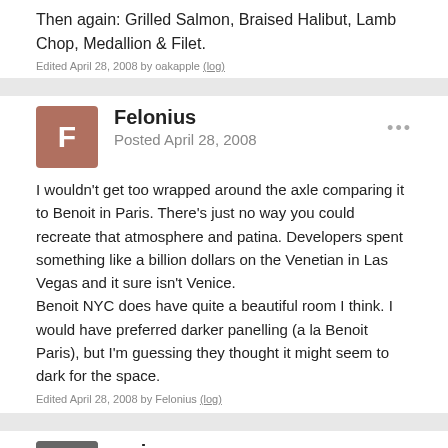Then again: Grilled Salmon, Braised Halibut, Lamb Chop, Medallion & Filet.
Edited April 28, 2008 by oakapple (log)
Felonius
Posted April 28, 2008
I wouldn't get too wrapped around the axle comparing it to Benoit in Paris. There's just no way you could recreate that atmosphere and patina. Developers spent something like a billion dollars on the Venetian in Las Vegas and it sure isn't Venice.
Benoit NYC does have quite a beautiful room I think. I would have preferred darker panelling (a la Benoit Paris), but I'm guessing they thought it might seem to dark for the space.
Edited April 28, 2008 by Felonius (log)
weinoo
Posted April 28, 2008